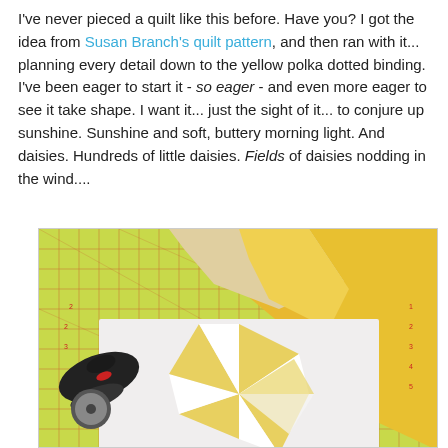I've never pieced a quilt like this before. Have you? I got the idea from Susan Branch's quilt pattern, and then ran with it... planning every detail down to the yellow polka dotted binding. I've been eager to start it - so eager - and even more eager to see it take shape. I want it... just the sight of it... to conjure up sunshine. Sunshine and soft, buttery morning light. And daisies. Hundreds of little daisies. Fields of daisies nodding in the wind....
[Figure (photo): Overhead photo of quilting materials on a yellow-green cutting mat: folded yellow and beige fabrics in the upper portion, a rotary cutter on the left, and a partially assembled yellow and white pinwheel/star quilt block in the center-lower area.]